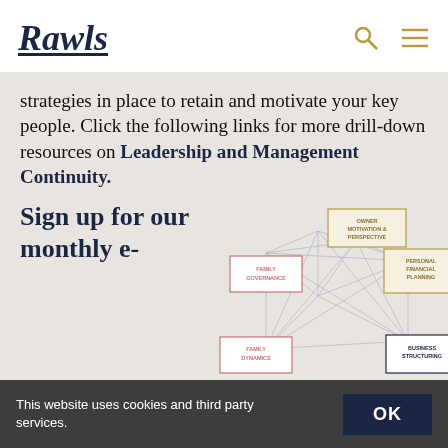Rawls
strategies in place to retain and motivate your key people. Click the following links for more drill-down resources on Leadership and Management Continuity.
Sign up for our monthly e-
[Figure (network-graph): Network diagram showing interconnected boxes labeled: Owner Motivation & Perspective, Family Governance, Personal Financial Planning, Family Dynamics, Business Structuring]
This website uses cookies and third party services. OK